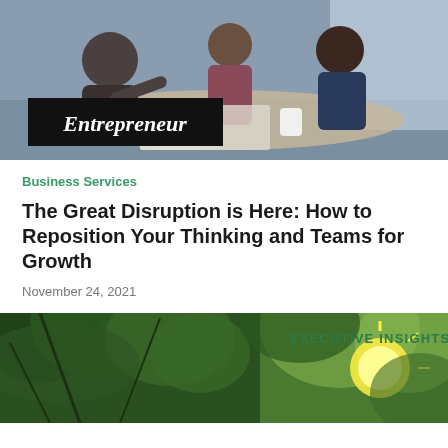[Figure (photo): Business people collaborating around a table, with 'Entrepreneur' logo overlay in bottom-left corner]
Business Services
The Great Disruption is Here: How to Reposition Your Thinking and Teams for Growth
November 24, 2021
[Figure (photo): Looking up through green tree canopy with sunlight, with 'EXECUTIVE INSIGHTS' text overlay in upper-right]